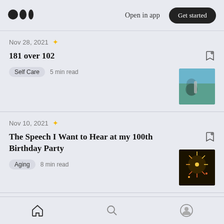Medium logo | Open in app | Get started
Nov 28, 2021
181 over 102
Self Care  5 min read
Nov 10, 2021
The Speech I Want to Hear at my 100th Birthday Party
Aging  8 min read
Sep 22, 2021
Home | Search | Profile